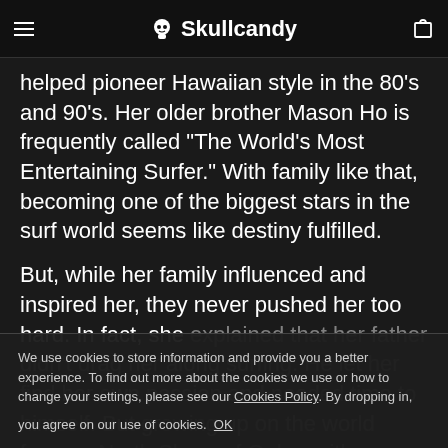Skullcandy
helped pioneer Hawaiian style in the 80's and 90's. Her older brother Mason Ho is frequently called “The World’s Most Entertaining Surfer.” With family like that, becoming one of the biggest stars in the surf world seems like destiny fulfilled.
But, while her family influenced and inspired her, they never pushed her too hard. In fact, she explained that her father didn’t drag her along surfing. He let her find her own passion and needed time to himself. But growing up on the world famous North Shore of Oahu, with some of the planet’s best waves a quick paddle out from your backyard, you can’t help but get
We use cookies to store information and provide you a better experience. To find out more about the cookies we use or how to change your settings, please see our Cookies Policy. By dropping in, you agree on our use of cookies. OK